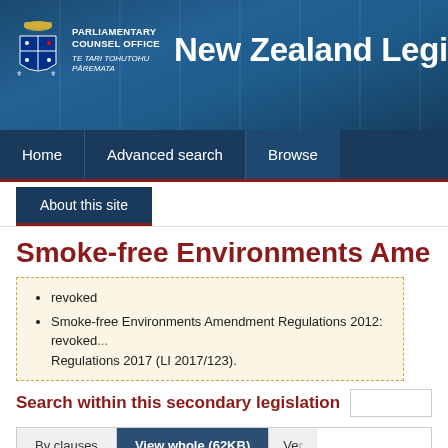[Figure (screenshot): New Zealand Parliamentary Counsel Office website header with coat of arms logo and site title 'New Zealand Legis...']
Parliamentary Counsel Office / Te Tari Tohutohu Pāremata — New Zealand Legis...
Home | Advanced search | Browse
About this site
Smoke-free Environments Amen...
revoked
Smoke-free Environments Amendment Regulations 2012: revoked... Regulations 2017 (LI 2017/123).
Search within this secondary legislation
By clauses | View whole (62KB) | Ve...